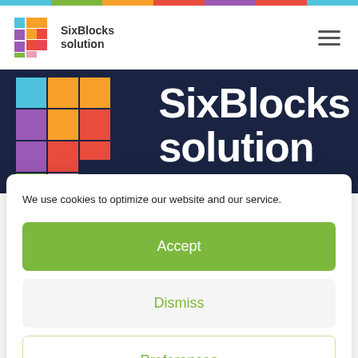[Figure (logo): SixBlocks solution logo with colorful block puzzle icon and company name]
[Figure (illustration): SixBlocks solution hero banner with large colorful logo blocks on dark navy background and white bold text 'SixBlocks solution']
We use cookies to optimize our website and our service.
Accept
Dismiss
Preferences
Cookie Policy  Privacybeleid